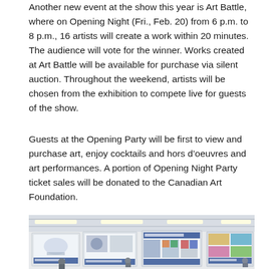Another new event at the show this year is Art Battle, where on Opening Night (Fri., Feb. 20) from 6 p.m. to 8 p.m., 16 artists will create a work within 20 minutes. The audience will vote for the winner. Works created at Art Battle will be available for purchase via silent auction. Throughout the weekend, artists will be chosen from the exhibition to compete live for guests of the show.
Guests at the Opening Party will be first to view and purchase art, enjoy cocktails and hors d’oeuvres and art performances. A portion of Opening Night Party ticket sales will be donated to the Canadian Art Foundation.
[Figure (photo): Interior of a large exhibition hall with white ceiling panels and fluorescent lighting, showing art display panels/booths with artwork mounted on them and attendees in the background.]